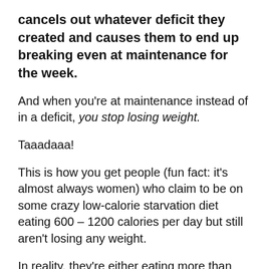cancels out whatever deficit they created and causes them to end up breaking even at maintenance for the week.
And when you're at maintenance instead of in a deficit, you stop losing weight.
Taaadaaa!
This is how you get people (fun fact: it's almost always women) who claim to be on some crazy low-calorie starvation diet eating 600 – 1200 calories per day but still aren't losing any weight.
In reality, they're either eating more than they think they are, or they're legitimately eating